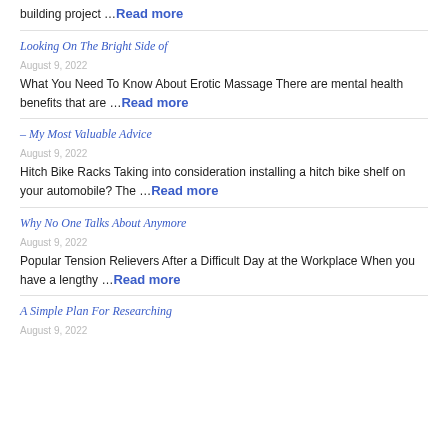building project …Read more
Looking On The Bright Side of
August 9, 2022
What You Need To Know About Erotic Massage There are mental health benefits that are …Read more
– My Most Valuable Advice
August 9, 2022
Hitch Bike Racks Taking into consideration installing a hitch bike shelf on your automobile? The …Read more
Why No One Talks About Anymore
August 9, 2022
Popular Tension Relievers After a Difficult Day at the Workplace When you have a lengthy …Read more
A Simple Plan For Researching
August 9, 2022